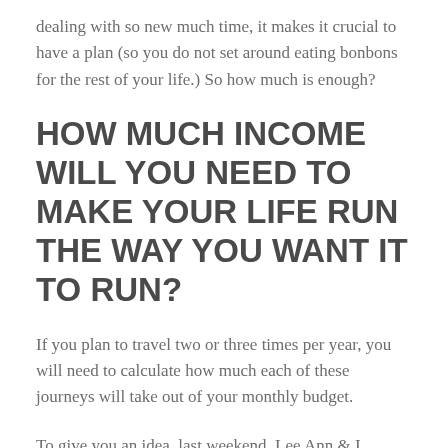dealing with so new much time, it makes it crucial to have a plan (so you do not set around eating bonbons for the rest of your life.) So how much is enough?
HOW MUCH INCOME WILL YOU NEED TO MAKE YOUR LIFE RUN THE WAY YOU WANT IT TO RUN?
If you plan to travel two or three times per year, you will need to calculate how much each of these journeys will take out of your monthly budget.
To give you an idea, last weekend, Lee Ann & I decided to take a weekend trip to French Lick, Indiana. This is a great little getaway, with a TON